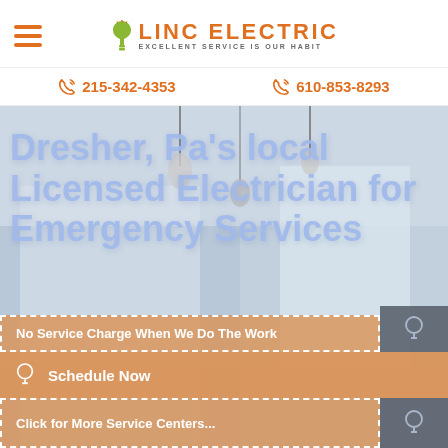[Figure (logo): Linc Electric logo with stylized light bulb icon, orange company name text, and tagline 'Excellent Service Is Our Habit']
215-342-4353
610-853-8293
[Figure (photo): Interior room photo with modern pendant lighting and white walls, used as hero background]
Dresher, Pa's local Licensed Electrician for Emergency Services
No Service Charge When We Do The Work
Schedule Now
Click for More Service Centers...